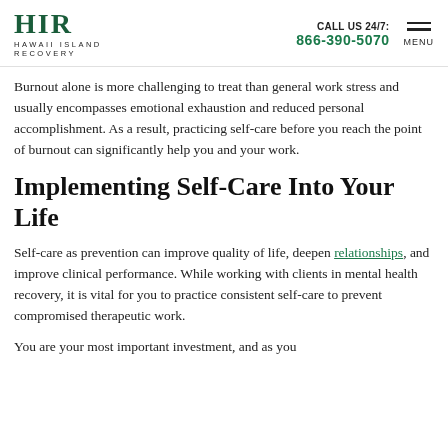HIR HAWAII ISLAND RECOVERY | CALL US 24/7: 866-390-5070 | MENU
Burnout alone is more challenging to treat than general work stress and usually encompasses emotional exhaustion and reduced personal accomplishment. As a result, practicing self-care before you reach the point of burnout can significantly help you and your work.
Implementing Self-Care Into Your Life
Self-care as prevention can improve quality of life, deepen relationships, and improve clinical performance. While working with clients in mental health recovery, it is vital for you to practice consistent self-care to prevent compromised therapeutic work.
You are your most important investment, and as you